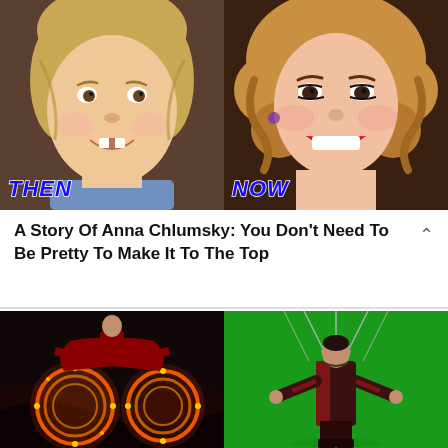[Figure (photo): Side-by-side 'Then and Now' photos of Anna Chlumsky. Left: young girl as a child actress with gap-toothed smile and blonde hair, labeled 'THEN' in blue italic text. Right: adult woman with curly blonde hair, red lipstick, and dangly earrings, labeled 'NOW' in blue italic text.]
A Story Of Anna Chlumsky: You Don't Need To Be Pretty To Make It To The Top
[Figure (photo): Side-by-side movie comparison: Left image shows a VFX rendered scene of Doctor Strange with glowing orange magical rings/portals in a dark rocky environment. Right image shows the same actor on a green screen set wearing the same red and black costume with wires/rigging visible.]